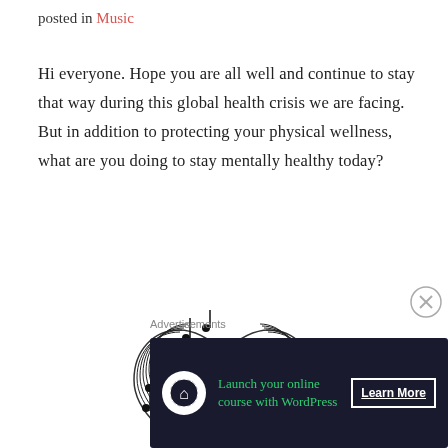posted in Music
Hi everyone. Hope you are all well and continue to stay that way during this global health crisis we are facing. But in addition to protecting your physical wellness, what are you doing to stay mentally healthy today?
[Figure (illustration): A heart shape made of musical staff lines and notes with a treble clef in the center]
Advertisements
Launch your online course with WordPress  Learn More